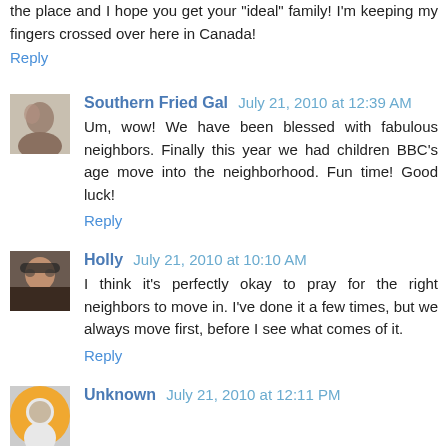the place and I hope you get your "ideal" family! I'm keeping my fingers crossed over here in Canada!
Reply
Southern Fried Gal  July 21, 2010 at 12:39 AM
Um, wow! We have been blessed with fabulous neighbors. Finally this year we had children BBC's age move into the neighborhood. Fun time! Good luck!
Reply
Holly  July 21, 2010 at 10:10 AM
I think it's perfectly okay to pray for the right neighbors to move in. I've done it a few times, but we always move first, before I see what comes of it.
Reply
Unknown  July 21, 2010 at 12:11 PM